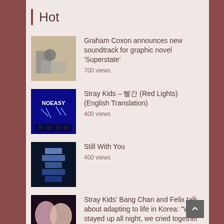Hot
Graham Coxon announces new soundtrack for graphic novel ‘Superstate’
700 views
Stray Kids – 빨간 (Red Lights) (English Translation)
400 views
Still With You
400 views
Stray Kids’ Bang Chan and Felix talk about adapting to life in Korea: “We stayed up all night, we cried together”
300 views